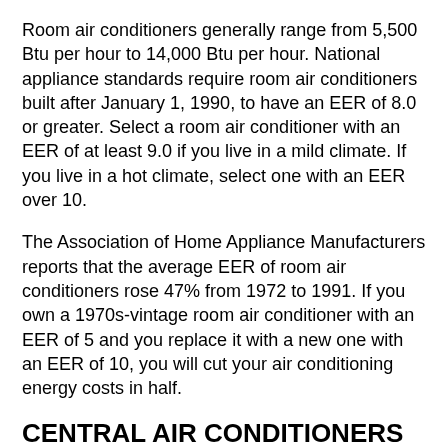Room air conditioners generally range from 5,500 Btu per hour to 14,000 Btu per hour. National appliance standards require room air conditioners built after January 1, 1990, to have an EER of 8.0 or greater. Select a room air conditioner with an EER of at least 9.0 if you live in a mild climate. If you live in a hot climate, select one with an EER over 10.
The Association of Home Appliance Manufacturers reports that the average EER of room air conditioners rose 47% from 1972 to 1991. If you own a 1970s-vintage room air conditioner with an EER of 5 and you replace it with a new one with an EER of 10, you will cut your air conditioning energy costs in half.
CENTRAL AIR CONDITIONERS—SEER-
National minimum standards for central air conditioners are set at...